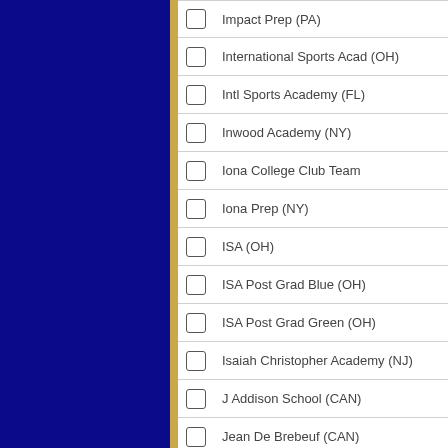Impact Prep (PA)
International Sports Acad (OH)
Intl Sports Academy (FL)
Inwood Academy (NY)
Iona College Club Team
Iona Prep (NY)
ISA (OH)
ISA Post Grad Blue (OH)
ISA Post Grad Green (OH)
Isaiah Christopher Academy (NJ)
J Addison School (CAN)
Jean De Brebeuf (CAN)